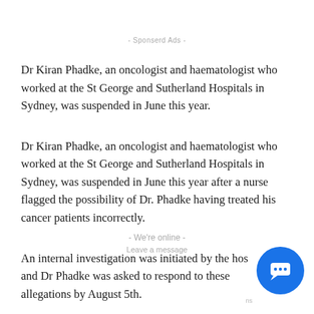- Sponserd Ads -
Dr Kiran Phadke, an oncologist and haematologist who worked at the St George and Sutherland Hospitals in Sydney, was suspended in June this year.
Dr Kiran Phadke, an oncologist and haematologist who worked at the St George and Sutherland Hospitals in Sydney, was suspended in June this year after a nurse flagged the possibility of Dr. Phadke having treated his cancer patients incorrectly.
An internal investigation was initiated by the hos and Dr Phadke was asked to respond to these allegations by August 5th.